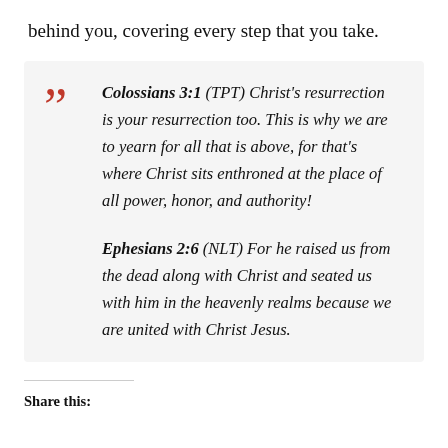behind you, covering every step that you take.
Colossians 3:1 (TPT) Christ's resurrection is your resurrection too. This is why we are to yearn for all that is above, for that's where Christ sits enthroned at the place of all power, honor, and authority!

Ephesians 2:6 (NLT) For he raised us from the dead along with Christ and seated us with him in the heavenly realms because we are united with Christ Jesus.
Share this: